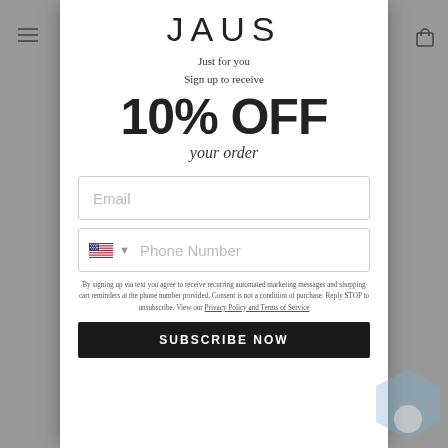JAUS
Just for you
Sign up to receive
10% OFF
your order
Email
Phone Number
By signing up via text you agree to receive recurring automated marketing messages and shopping cart reminders at the phone number provided. Consent is not a condition of purchase. Reply STOP to unsubscribe. View our Privacy Policy and Terms of Service
SUBSCRIBE NOW